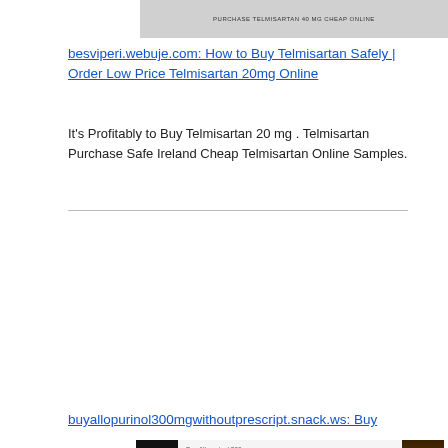[Figure (screenshot): Thumbnail image showing 'PURCHASE TELMISARTAN 40 mg CHEAP ONLINE' text on a grey banner]
besviperi.webuje.com: How to Buy Telmisartan Safely | Order Low Price Telmisartan 20mg Online
It's Profitably to Buy Telmisartan 20 mg . Telmisartan Purchase Safe Ireland Cheap Telmisartan Online Samples.
[Figure (screenshot): Advertisement image for Discount Allopurinol Order Online with word-doctor.com watermark, Buy ALLOPURINOL 100mg Online Now]
buyallopurinol300mgwithoutprescript.snack.ws: Buy